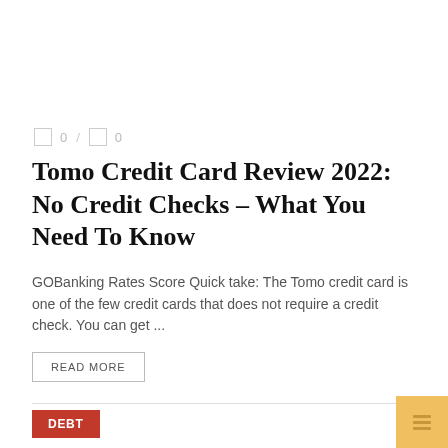0 / 0
Tomo Credit Card Review 2022: No Credit Checks – What You Need To Know
GOBanking Rates Score Quick take: The Tomo credit card is one of the few credit cards that does not require a credit check. You can get ...
READ MORE
DEBT